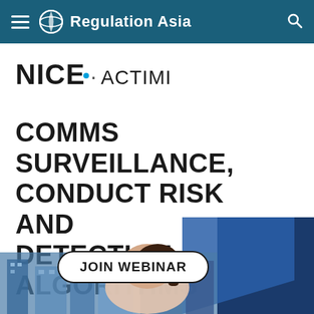Regulation Asia
[Figure (logo): NICE Actimize logo with stylized globe icon]
COMMS SURVEILLANCE, CONDUCT RISK AND DETECTION ALGORITHMS
[Figure (photo): Promotional webinar banner with 'JOIN WEBINAR' button, Asian woman looking down at screen with blue city buildings in background]